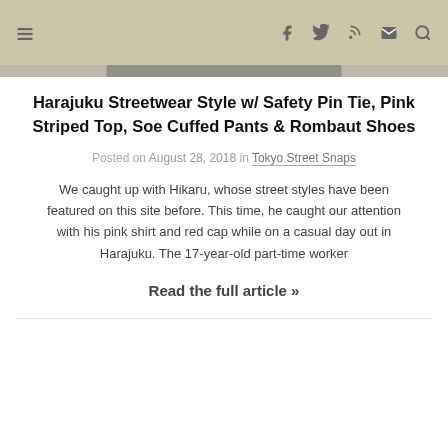Navigation bar with hamburger menu and social icons (Facebook, Twitter, RSS, Email, Search)
Harajuku Streetwear Style w/ Safety Pin Tie, Pink Striped Top, Soe Cuffed Pants & Rombaut Shoes
Posted on August 28, 2018 in Tokyo Street Snaps
We caught up with Hikaru, whose street styles have been featured on this site before. This time, he caught our attention with his pink shirt and red cap while on a casual day out in Harajuku. The 17-year-old part-time worker
Read the full article »